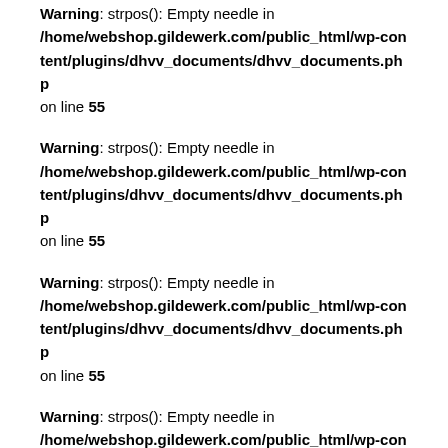Warning: strpos(): Empty needle in /home/webshop.gildewerk.com/public_html/wp-content/plugins/dhvv_documents/dhvv_documents.php on line 55
Warning: strpos(): Empty needle in /home/webshop.gildewerk.com/public_html/wp-content/plugins/dhvv_documents/dhvv_documents.php on line 55
Warning: strpos(): Empty needle in /home/webshop.gildewerk.com/public_html/wp-content/plugins/dhvv_documents/dhvv_documents.php on line 55
Warning: strpos(): Empty needle in /home/webshop.gildewerk.com/public_html/wp-content/plugins/dhvv_documents/dhvv_documents.php on line 55